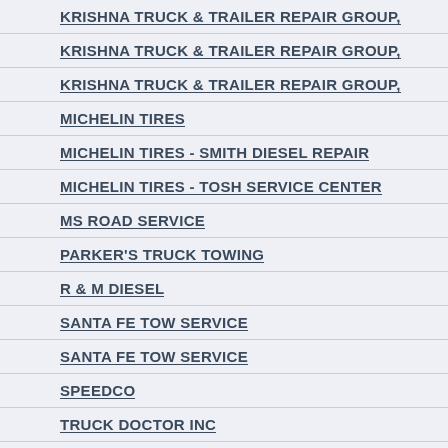KRISHNA TRUCK & TRAILER REPAIR GROUP,
KRISHNA TRUCK & TRAILER REPAIR GROUP,
KRISHNA TRUCK & TRAILER REPAIR GROUP,
MICHELIN TIRES
MICHELIN TIRES - SMITH DIESEL REPAIR
MICHELIN TIRES - TOSH SERVICE CENTER
MS ROAD SERVICE
PARKER'S TRUCK TOWING
R & M DIESEL
SANTA FE TOW SERVICE
SANTA FE TOW SERVICE
SPEEDCO
TRUCK DOCTOR INC